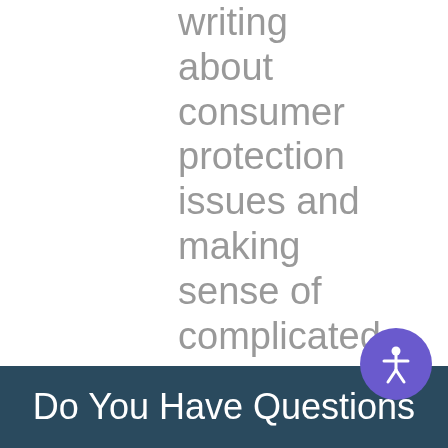writing about consumer protection issues and making sense of complicated real estate and mortgage topics on this website since 2007
[Figure (illustration): Accessibility icon button — circular purple button with a white human figure (accessibility/person) icon in the center]
Do You Have Questions